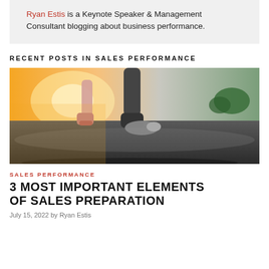Ryan Estis is a Keynote Speaker & Management Consultant blogging about business performance.
RECENT POSTS IN SALES PERFORMANCE
[Figure (photo): Close-up low-angle photo of two runners' legs on asphalt road at sunset]
SALES PERFORMANCE
3 MOST IMPORTANT ELEMENTS OF SALES PREPARATION
July 15, 2022 by Ryan Estis